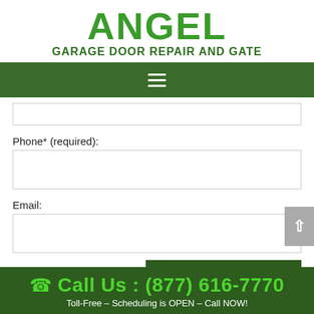ANGEL GARAGE DOOR REPAIR AND GATE
[Figure (other): Green navigation bar with hamburger menu icon (three white horizontal lines)]
Phone* (required):
Email:
Send
Call Us : (877) 616-7770
Toll-Free – Scheduling is OPEN – Call NOW!